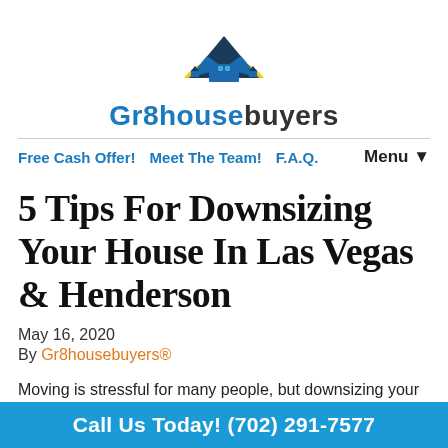[Figure (logo): Gr8housebuyers logo — a house silhouette with blue triangle roof and yellow arc above it, blue house icon in center, with the brand name Gr8housebuyers below]
Free Cash Offer!  Meet The Team!  F.A.Q.  Menu ▼
5 Tips For Downsizing Your House In Las Vegas & Henderson
May 16, 2020
By Gr8housebuyers®
Moving is stressful for many people, but downsizing your house is a great way to save
Call Us Today! (702) 291-7577